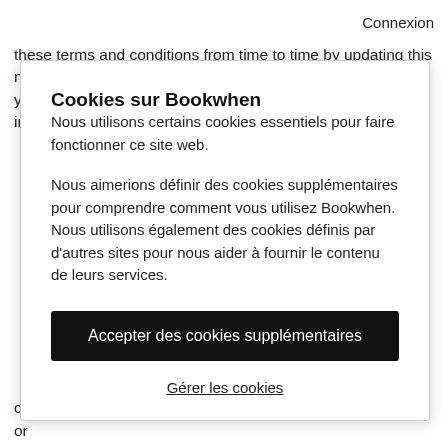Connexion
these terms and conditions from time to time by updating this notice. This is an offer made by Surf and Swim School Ltd to you, under which you are invited to browse, peruse and interact with our
Cookies sur Bookwhen
Nous utilisons certains cookies essentiels pour faire fonctionner ce site web.
Nous aimerions définir des cookies supplémentaires pour comprendre comment vous utilisez Bookwhen. Nous utilisons également des cookies définis par d'autres sites pour nous aider à fournir le contenu de leurs services.
Accepter des cookies supplémentaires
Gérer les cookies
consequential loss arising from your access to and/or use of or